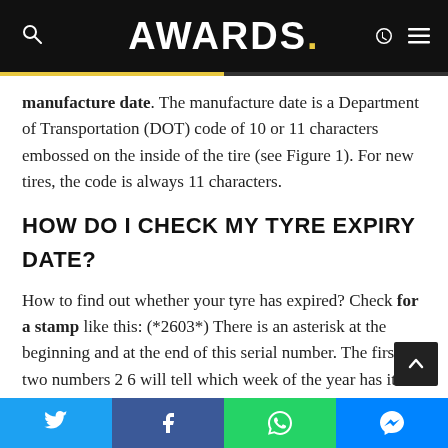AWARDS.
manufacture date. The manufacture date is a Department of Transportation (DOT) code of 10 or 11 characters embossed on the inside of the tire (see Figure 1). For new tires, the code is always 11 characters.
HOW DO I CHECK MY TYRE EXPIRY DATE?
How to find out whether your tyre has expired? Check for a stamp like this: (*2603*) There is an asterisk at the beginning and at the end of this serial number. The first two numbers 2 6 will tell which week of the year has it been manufactured. One year has 52 weeks.
Twitter | Facebook | WhatsApp | Messenger